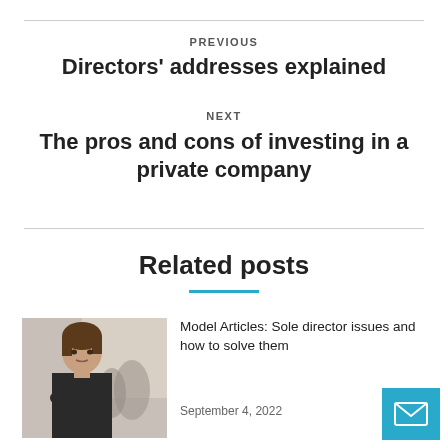PREVIOUS
Directors' addresses explained
NEXT
The pros and cons of investing in a private company
Related posts
[Figure (photo): Professional woman with arms crossed in an office setting]
Model Articles: Sole director issues and how to solve them
September 4, 2022